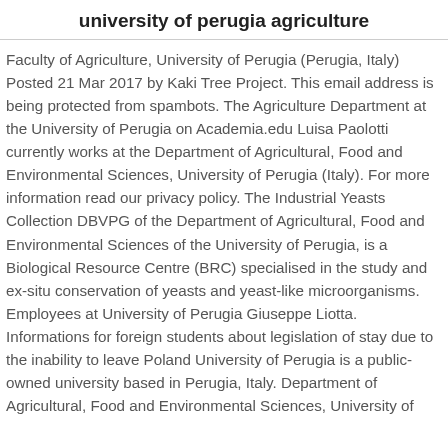university of perugia agriculture
Faculty of Agriculture, University of Perugia (Perugia, Italy) Posted 21 Mar 2017 by Kaki Tree Project. This email address is being protected from spambots. The Agriculture Department at the University of Perugia on Academia.edu Luisa Paolotti currently works at the Department of Agricultural, Food and Environmental Sciences, University of Perugia (Italy). For more information read our privacy policy. The Industrial Yeasts Collection DBVPG of the Department of Agricultural, Food and Environmental Sciences of the University of Perugia, is a Biological Resource Centre (BRC) specialised in the study and ex-situ conservation of yeasts and yeast-like microorganisms. Employees at University of Perugia Giuseppe Liotta. Informations for foreign students about legislation of stay due to the inability to leave Poland University of Perugia is a public-owned university based in Perugia, Italy. Department of Agricultural, Food and Environmental Sciences, University of